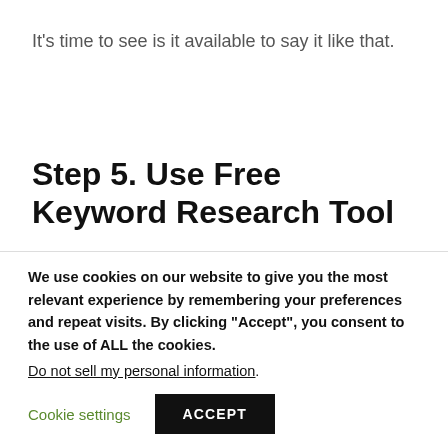It's time to see is it available to say it like that.
Step 5. Use Free Keyword Research Tool
This is the best part of this long-tail keyword research guide! A couple of years
We use cookies on our website to give you the most relevant experience by remembering your preferences and repeat visits. By clicking "Accept", you consent to the use of ALL the cookies.
Do not sell my personal information.
Cookie settings  ACCEPT